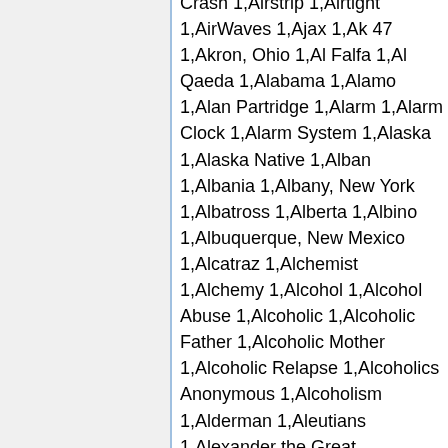Crash 1,Airstrip 1,Airtight 1,AirWaves 1,Ajax 1,Ak 47 1,Akron, Ohio 1,Al Falfa 1,Al Qaeda 1,Alabama 1,Alamo 1,Alan Partridge 1,Alarm 1,Alarm Clock 1,Alarm System 1,Alaska 1,Alaska Native 1,Alban 1,Albania 1,Albany, New York 1,Albatross 1,Alberta 1,Albino 1,Albuquerque, New Mexico 1,Alcatraz 1,Alchemist 1,Alchemy 1,Alcohol 1,Alcohol Abuse 1,Alcoholic 1,Alcoholic Father 1,Alcoholic Mother 1,Alcoholic Relapse 1,Alcoholics Anonymous 1,Alcoholism 1,Alderman 1,Aleutians 1,Alexander the Great 1,Alexandria, Egypt 1,Algae 1,Algeciras 1,Algeria 1,Algerian 1,Algiers 1,Algonquin Round Table 1,Alias 1,Alibi 1,Alice Comedies 1,Alice in Wonderland 1,Alien 1,Alien Abduction 1,Alien Artifact 1,Alien Attack 1,Alien Baby 1,Alien Civilization 1,Alien Conspiracy 1,Alien Contact 1,Ali...